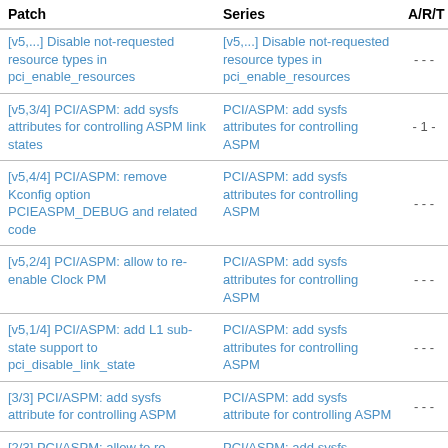| Patch | Series | A/R/T |
| --- | --- | --- |
| [v5,...] Disable not-requested resource types in pci_enable_resources | [v5,...] Disable not-requested resource types in pci_enable_resources | - - - |
| [v5,3/4] PCI/ASPM: add sysfs attributes for controlling ASPM link states | PCI/ASPM: add sysfs attributes for controlling ASPM | - 1 - |
| [v5,4/4] PCI/ASPM: remove Kconfig option PCIEASPM_DEBUG and related code | PCI/ASPM: add sysfs attributes for controlling ASPM | - - - |
| [v5,2/4] PCI/ASPM: allow to re-enable Clock PM | PCI/ASPM: add sysfs attributes for controlling ASPM | - - - |
| [v5,1/4] PCI/ASPM: add L1 sub-state support to pci_disable_link_state | PCI/ASPM: add sysfs attributes for controlling ASPM | - - - |
| [3/3] PCI/ASPM: add sysfs attribute for controlling ASPM | PCI/ASPM: add sysfs attribute for controlling ASPM | - - - |
| [2/3] PCI/ASPM: allow to re-enable Clock PM | PCI/ASPM: add sysfs attribute for controlling | - - - |